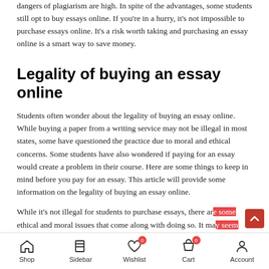dangers of plagiarism are high. In spite of the advantages, some students still opt to buy essays online. If you're in a hurry, it's not impossible to purchase essays online. It's a risk worth taking and purchasing an essay online is a smart way to save money.
Legality of buying an essay online
Students often wonder about the legality of buying an essay online. While buying a paper from a writing service may not be illegal in most states, some have questioned the practice due to moral and ethical concerns. Some students have also wondered if paying for an essay would create a problem in their course. Here are some things to keep in mind before you pay for an essay. This article will provide some information on the legality of buying an essay online.
While it's not illegal for students to purchase essays, there are some ethical and moral issues that come along with doing so. It may seem unethical to purchase essays online, but it's not. Students who need